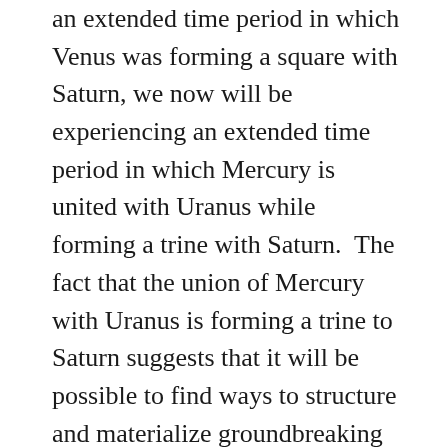an extended time period in which Venus was forming a square with Saturn, we now will be experiencing an extended time period in which Mercury is united with Uranus while forming a trine with Saturn.  The fact that the union of Mercury with Uranus is forming a trine to Saturn suggests that it will be possible to find ways to structure and materialize groundbreaking insights so that we can take our understanding to a deeper level as well as find forms to express realizations through.  The lunar cycle ahead will be ideal for going deeper into whatever research or work you have been working on but until now have not synthesized or comprehended fully.